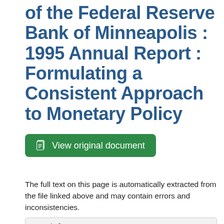Full text of Annual Report of the Federal Reserve Bank of Minneapolis : 1995 Annual Report : Formulating a Consistent Approach to Monetary Policy
View original document
The full text on this page is automatically extracted from the file linked above and may contain errors and inconsistencies.
Special Issue